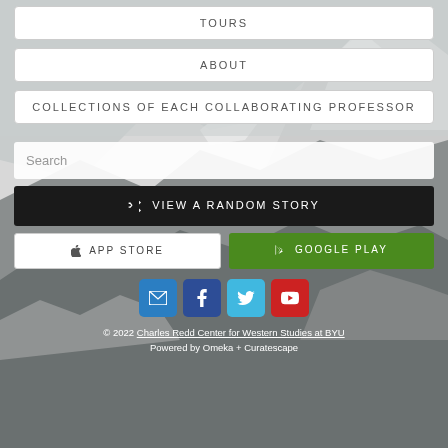TOURS
ABOUT
COLLECTIONS OF EACH COLLABORATING PROFESSOR
Search
⇄  VIEW A RANDOM STORY
APP STORE
GOOGLE PLAY
[Figure (other): Social media icon buttons: email (blue), Facebook (dark blue), Twitter (light blue), YouTube (red)]
© 2022 Charles Redd Center for Western Studies at BYU
Powered by Omeka + Curatescape